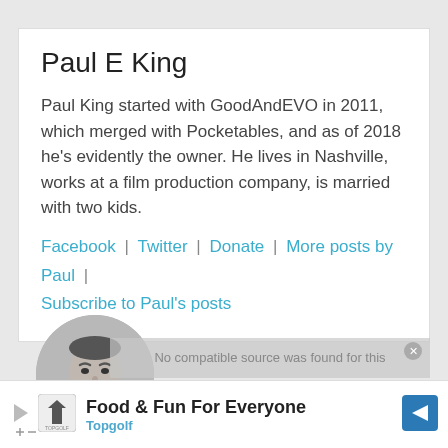Paul E King
Paul King started with GoodAndEVO in 2011, which merged with Pocketables, and as of 2018 he's evidently the owner. He lives in Nashville, works at a film production company, is married with two kids.
Facebook | Twitter | Donate | More posts by Paul | Subscribe to Paul's posts
[Figure (photo): Circular grayscale headshot of Paul E King]
No compatible source was found for this
What's your opinion?
[Figure (infographic): Topgolf advertisement banner: Food & Fun For Everyone - Topgolf]